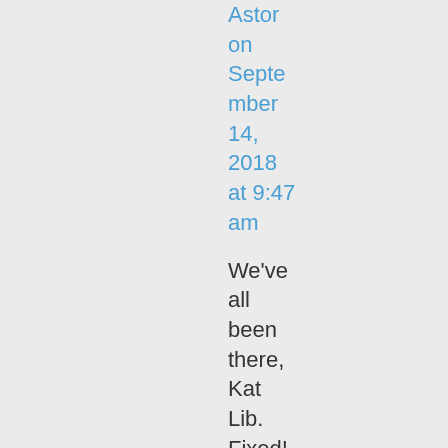Astor on September 14, 2018 at 9:47 am
We've all been there, Kat Lib. Fixed!
★ Like